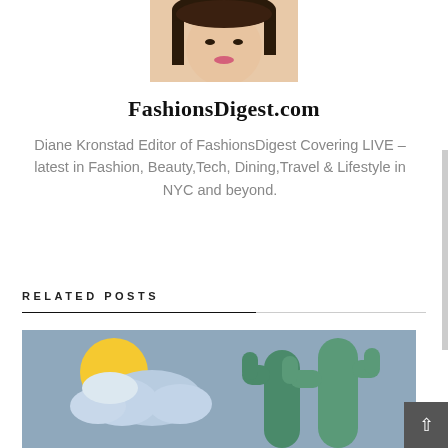[Figure (photo): Cropped photo of a woman (Diane Kronstad) from the shoulders up, dark hair, partially visible face]
FashionsDigest.com
Diane Kronstad Editor of FashionsDigest Covering LIVE – latest in Fashion, Beauty,Tech, Dining,Travel & Lifestyle in NYC and beyond.
RELATED POSTS
[Figure (illustration): Illustrated weather/travel scene with sun behind clouds on the left side and green rounded cacti shapes on the right side, on a blue-grey background]